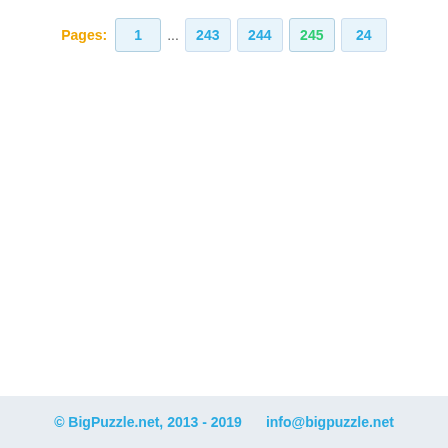Pages: 1 ... 243 244 245 24...
© BigPuzzle.net, 2013 - 2019    info@bigpuzzle.net